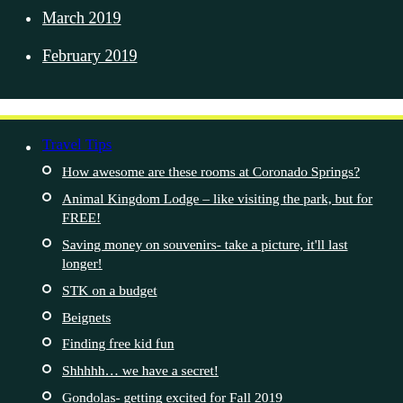March 2019
February 2019
Travel Tips
How awesome are these rooms at Coronado Springs?
Animal Kingdom Lodge – like visiting the park, but for FREE!
Saving money on souvenirs- take a picture, it'll last longer!
STK on a budget
Beignets
Finding free kid fun
Shhhhh… we have a secret!
Gondolas- getting excited for Fall 2019